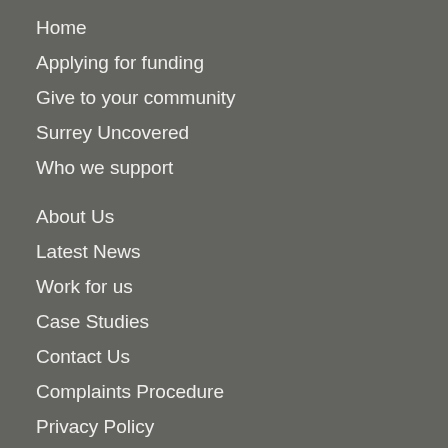Home
Applying for funding
Give to your community
Surrey Uncovered
Who we support
About Us
Latest News
Work for us
Case Studies
Contact Us
Complaints Procedure
Privacy Policy
Cookie Policy